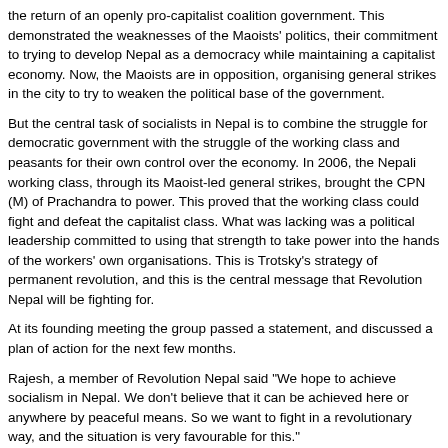the return of an openly pro-capitalist coalition government. This demonstrated the weaknesses of the Maoists' politics, their commitment to trying to develop Nepal as a democracy while maintaining a capitalist economy. Now, the Maoists are in opposition, organising general strikes in the city to try to weaken the political base of the government.
But the central task of socialists in Nepal is to combine the struggle for democratic government with the struggle of the working class and peasants for their own control over the economy. In 2006, the Nepali working class, through its Maoist-led general strikes, brought the CPN (M) of Prachandra to power. This proved that the working class could fight and defeat the capitalist class. What was lacking was a political leadership committed to using that strength to take power into the hands of the workers' own organisations. This is Trotsky's strategy of permanent revolution, and this is the central message that Revolution Nepal will be fighting for.
At its founding meeting the group passed a statement, and discussed a plan of action for the next few months.
Rajesh, a member of Revolution Nepal said "We hope to achieve socialism in Nepal. We don't believe that it can be achieved here or anywhere by peaceful means. So we want to fight in a revolutionary way, and the situation is very favourable for this."
“We have enough strength to smash the power and show that communism is the ultimate solution, for all the problems of Nepal and the world. We want to highlight the nature of the 'imperialist' and 'capitalist' countries, their real character, and that